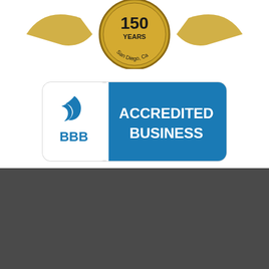[Figure (logo): Anniversary badge logo with '150 YEARS San Diego, Ca' text in a circular golden emblem]
[Figure (logo): Better Business Bureau (BBB) Accredited Business badge with blue background and white text]
CONTACT INFO
River Run Business Park East
11645 Riverside Dr, Suite